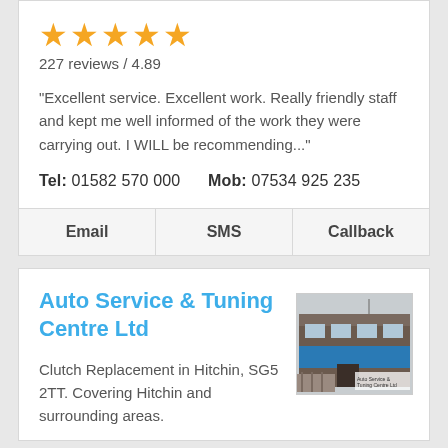★★★★★
227 reviews / 4.89
"Excellent service. Excellent work. Really friendly staff and kept me well informed of the work they were carrying out. I WILL be recommending..."
Tel:  01582 570 000      Mob:  07534 925 235
Email   SMS   Callback
Auto Service & Tuning Centre Ltd
Clutch Replacement in Hitchin, SG5 2TT. Covering Hitchin and surrounding areas.
[Figure (photo): Photo of Auto Service & Tuning Centre Ltd building exterior with blue signage]